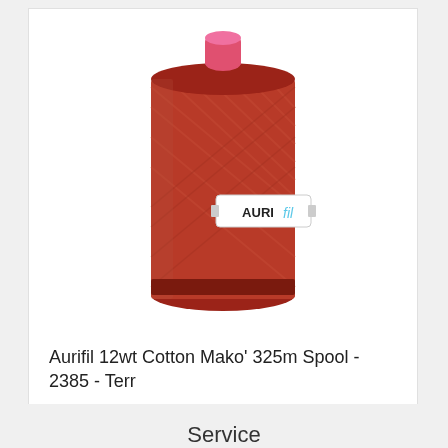[Figure (photo): A large spool of Aurifil thread in a deep terracotta/rust red color. The spool has a red base and top cap with a pink center tube. An Aurifil brand label is visible on the spool. The thread is wound tightly around the spool.]
Aurifil 12wt Cotton Mako' 325m Spool - 2385 - Terr
Login for Pricing
Service